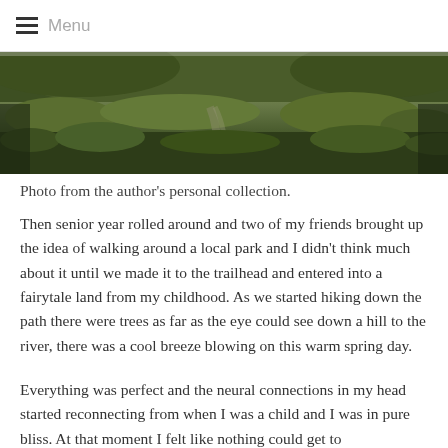≡ Menu
[Figure (photo): Outdoor nature photo showing a grassy hillside with dense green grass and vegetation, a path visible in the distance leading down toward a river area. The image is cropped at the top.]
Photo from the author's personal collection.
Then senior year rolled around and two of my friends brought up the idea of walking around a local park and I didn't think much about it until we made it to the trailhead and entered into a fairytale land from my childhood. As we started hiking down the path there were trees as far as the eye could see down a hill to the river, there was a cool breeze blowing on this warm spring day.
Everything was perfect and the neural connections in my head started reconnecting from when I was a child and I was in pure bliss. At that moment I felt like nothing could get to